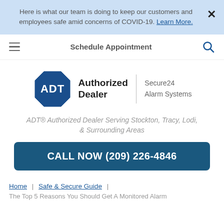Here is what our team is doing to keep our customers and employees safe amid concerns of COVID-19. Learn More.
Schedule Appointment
[Figure (logo): ADT Authorized Dealer logo with blue octagon ADT icon, 'Authorized Dealer' text, vertical divider, and 'Secure24 Alarm Systems' text]
ADT® Authorized Dealer Serving Stockton, Tracy, Lodi, & Surrounding Areas
CALL NOW (209) 226-4846
Home | Safe & Secure Guide |
The Top 5 Reasons You Should Get A Monitored Alarm